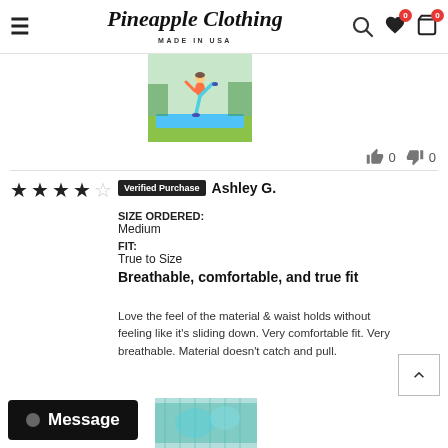Pineapple Clothing — MADE IN USA
[Figure (photo): Person doing a high-kick exercise on a blue yoga mat outdoors on grass]
👍 0  👎 0
★★★★☆  Verified Purchase  Ashley G.
SIZE ORDERED: Medium
FIT: True to Size
Breathable, comfortable, and true fit
Love the feel of the material & waist holds without feeling like it's sliding down. Very comfortable fit. Very breathable. Material doesn't catch and pull.
[Figure (photo): Close-up of blue/teal fabric or leggings material]
Message